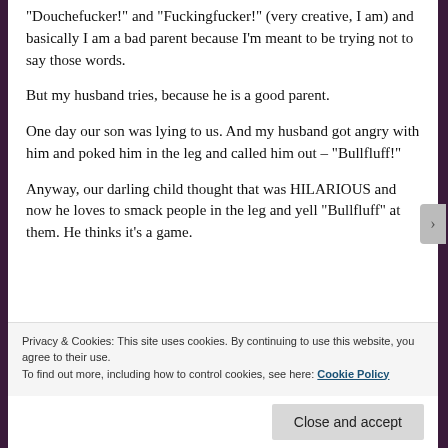“Douchefucker!” and “Fuckingfucker!” (very creative, I am) and basically I am a bad parent because I’m meant to be trying not to say those words.
But my husband tries, because he is a good parent.
One day our son was lying to us. And my husband got angry with him and poked him in the leg and called him out – “Bullfluff!”
Anyway, our darling child thought that was HILARIOUS and now he loves to smack people in the leg and yell “Bullfluff” at them. He thinks it’s a game.
Privacy & Cookies: This site uses cookies. By continuing to use this website, you agree to their use.
To find out more, including how to control cookies, see here: Cookie Policy
Close and accept